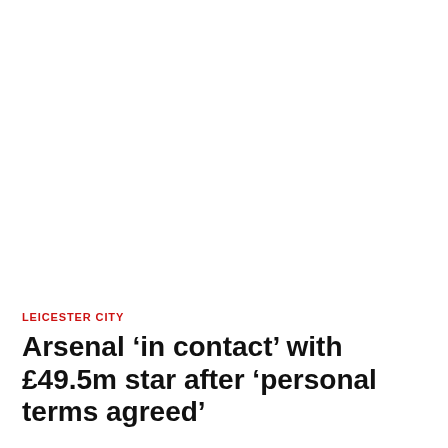LEICESTER CITY
Arsenal ‘in contact’ with £49.5m star after ‘personal terms agreed’